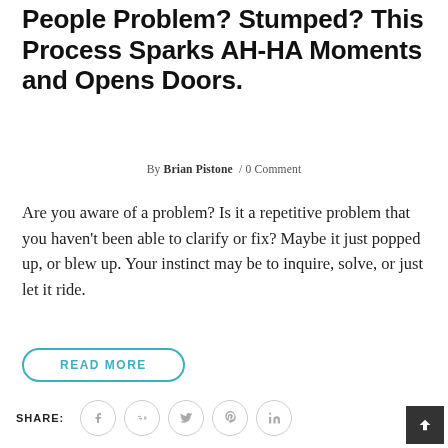People Problem? Stumped? This Process Sparks AH-HA Moments and Opens Doors.
By Brian Pistone  / 0 Comment
Are you aware of a problem? Is it a repetitive problem that you haven't been able to clarify or fix? Maybe it just popped up, or blew up. Your instinct may be to inquire, solve, or just let it ride.
READ MORE
SHARE: